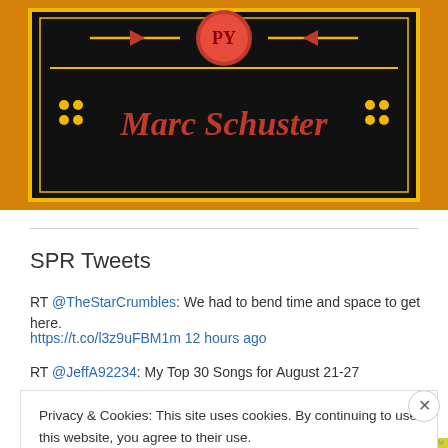[Figure (photo): Book cover image with dark background showing 'Marc Schuster' in red/gold decorative lettering with lightning bolt ornaments]
SPR Tweets
RT @TheStarCrumbles: We had to bend time and space to get here.
https://t.co/l3z9uFBM1m 12 hours ago
RT @JeffA92234: My Top 30 Songs for August 21-27
Privacy & Cookies: This site uses cookies. By continuing to use this website, you agree to their use.
To find out more, including how to control cookies, see here: Cookie Policy
Close and accept